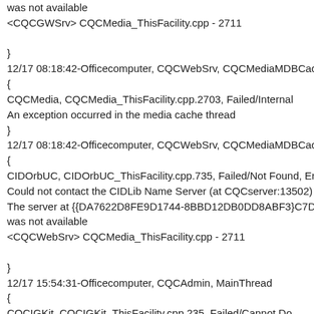was not available
<CQCGWSrv> CQCMedia_ThisFacility.cpp - 2711

}
12/17 08:18:42-Officecomputer, CQCWebSrv, CQCMediaMDBCache
{
CQCMedia, CQCMedia_ThisFacility.cpp.2703, Failed/Internal
An exception occurred in the media cache thread
}
12/17 08:18:42-Officecomputer, CQCWebSrv, CQCMediaMDBCache
{
CIDOrbUC, CIDOrbUC_ThisFacility.cpp.735, Failed/Not Found, Erro
Could not contact the CIDLib Name Server (at CQCserver:13502)
The server at {{DA7622D8FE9D1744-8BBD12DB0DD8ABF3}C7D14
was not available
<CQCWebSrv> CQCMedia_ThisFacility.cpp - 2711

}
12/17 15:54:31-Officecomputer, CQCAdmin, MainThread
{
CQCIGKit, CQCIGKit_ThisFacility.cpp.235, Failed/Cannot Do
Could not contact the client service to clear old client side drivers. Is t
}
12/17 16:10:03-DESKTOP_FF6FDC1, CQCClService, ClSrvMastrTh